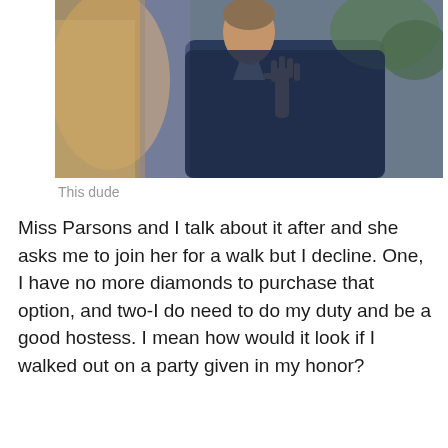[Figure (photo): A man in a dark navy sweater over a collared shirt, gesturing with his hand raised, talking to a woman with blonde hair. Indoor setting with greenery in background.]
This dude
Miss Parsons and I talk about it after and she asks me to join her for a walk but I decline. One, I have no more diamonds to purchase that option, and two-I do need to do my duty and be a good hostess. I mean how would it look if I walked out on a party given in my honor?
[Figure (photo): A young girl with light blonde hair pulled up with a striped bow/hair accessory, looking to the side. Appears to be from a TV show or film still.]